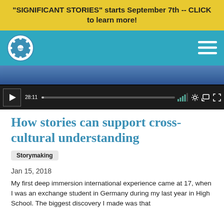"SIGNIFICANT STORIES" starts September 7th -- CLICK to learn more!
[Figure (screenshot): Website navigation bar with teal background, circular logo on the left (SSGB), and hamburger menu icon on the right]
[Figure (screenshot): Video player showing a partially visible image at top and video controls bar at bottom with play button, timestamp 28:11, progress bar, and control icons]
How stories can support cross-cultural understanding
Storymaking
Jan 15, 2018
My first deep immersion international experience came at 17, when I was an exchange student in Germany during my last year in High School. The biggest discovery I made was that